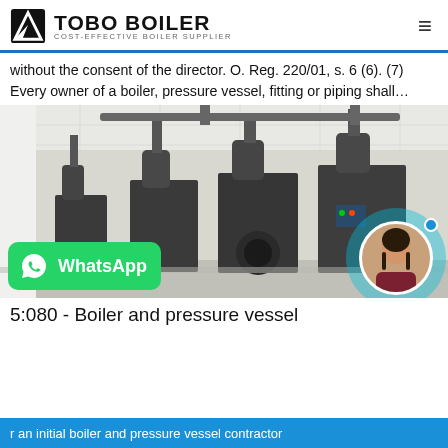TOBO BOILER — COST-EFFECTIVE BOILER SUPPLIER
without the consent of the director. O. Reg. 220/01, s. 6 (6). (7) Every owner of a boiler, pressure vessel, fitting or piping shall…
[Figure (photo): Industrial boiler room showing multiple large dark-colored boilers with pipes and fittings in a white-walled facility]
5:080 - Boiler and pressure vessel
r an initial boiler and pressure vessel contractor